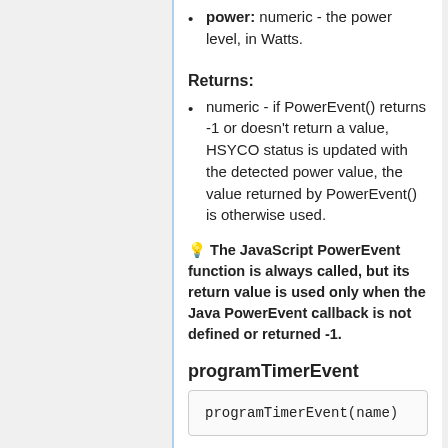power: numeric - the power level, in Watts.
Returns:
numeric - if PowerEvent() returns -1 or doesn't return a value, HSYCO status is updated with the detected power value, the value returned by PowerEvent() is otherwise used.
💡 The JavaScript PowerEvent function is always called, but its return value is used only when the Java PowerEvent callback is not defined or returned -1.
programTimerEvent
programTimerEvent(name)